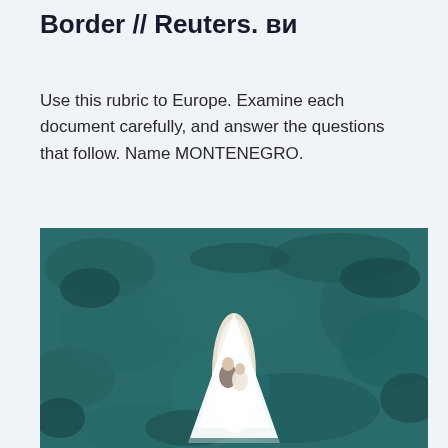Border // Reuters. ви
Use this rubric to Europe. Examine each document carefully, and answer the questions that follow. Name MONTENEGRO.
[Figure (photo): Aerial drone photograph of a couple on a small white boat or surfboard on dark teal water. A bride in a white dress with a long veil and a person beside her are seen from above.]